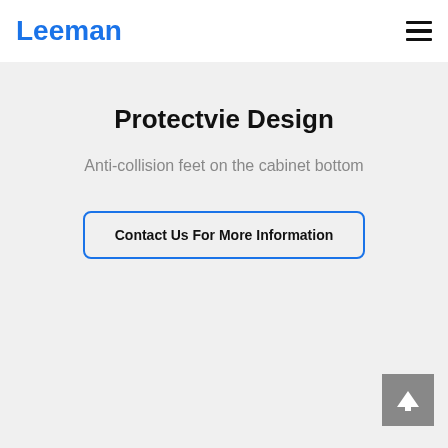Leeman
Protectvie Design
Anti-collision feet on the cabinet bottom
Contact Us For More Information
[Figure (other): Scroll-to-top button with upward arrow icon]